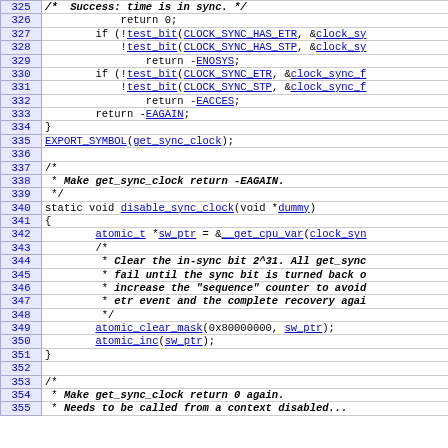[Figure (screenshot): Source code listing with line numbers 325-355, showing C kernel code for clock synchronization functions including get_sync_clock and disable_sync_clock, with hyperlinked identifiers in blue monospace font.]